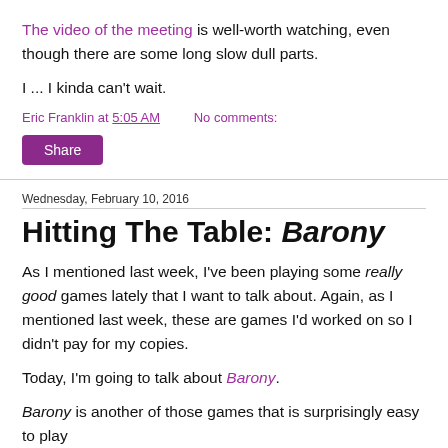The video of the meeting is well-worth watching, even though there are some long slow dull parts.
I ... I kinda can't wait.
Eric Franklin at 5:05 AM    No comments:
Share
Wednesday, February 10, 2016
Hitting The Table: Barony
As I mentioned last week, I've been playing some really good games lately that I want to talk about. Again, as I mentioned last week, these are games I'd worked on so I didn't pay for my copies.
Today, I'm going to talk about Barony.
Barony is another of those games that is surprisingly easy to play and...